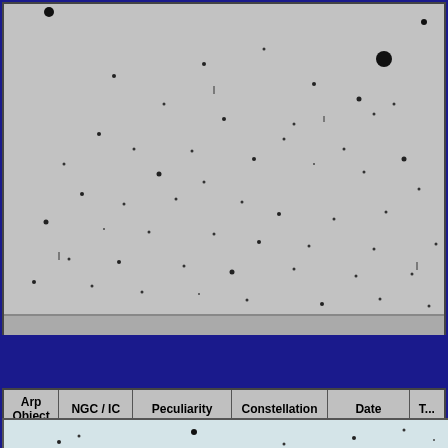[Figure (photo): Astronomical star field image showing scattered stars on a gray background, black and white photographic plate style]
| Arp Object | NGC / IC | Peculiarity | Constellation | Date | T... |
| --- | --- | --- | --- | --- | --- |
| 104 | NGC5216 & 5218 (Keenan's System) | Elliptical: Connected to Spirals | Ursa Major | 05/31/2022 | 8... f... 7... A... &... f... |
[Figure (photo): Color astronomical image showing stars on a light blue-gray background, partial view at bottom of page]